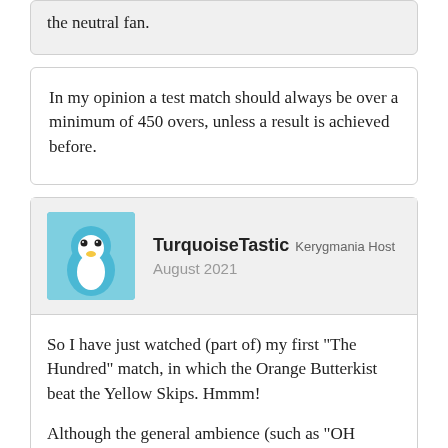the neutral fan.
In my opinion a test match should always be over a minimum of 450 overs, unless a result is achieved before.
TurquoiseTastic Kerygmania Host August 2021
So I have just watched (part of) my first "The Hundred" match, in which the Orange Butterkist beat the Yellow Skips. Hmmm!
Although the general ambience (such as "OH YEAH" popping up every time a six is scored) is not to my personal taste, I approve of it being featured on the BBC...